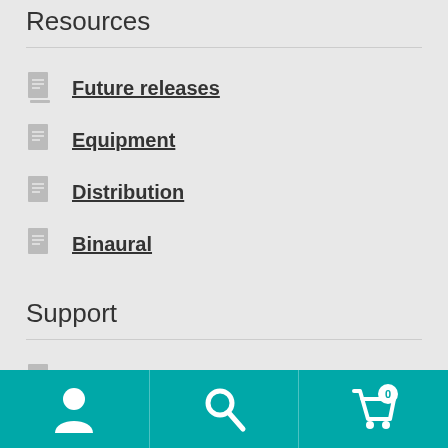Resources
Future releases
Equipment
Distribution
Binaural
Support
Customer Support
[Figure (screenshot): Bottom navigation toolbar with teal background showing user icon, search icon, and shopping cart icon with badge showing 0]